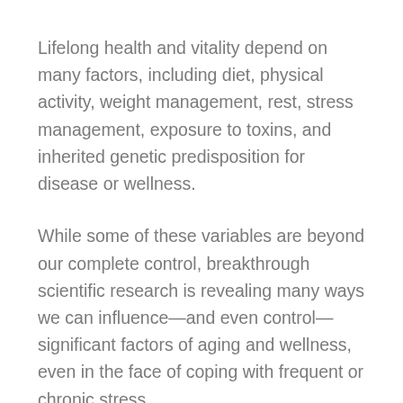Lifelong health and vitality depend on many factors, including diet, physical activity, weight management, rest, stress management, exposure to toxins, and inherited genetic predisposition for disease or wellness.
While some of these variables are beyond our complete control, breakthrough scientific research is revealing many ways we can influence—and even control—significant factors of aging and wellness, even in the face of coping with frequent or chronic stress.
A long life full of vitality and healthy aging begins